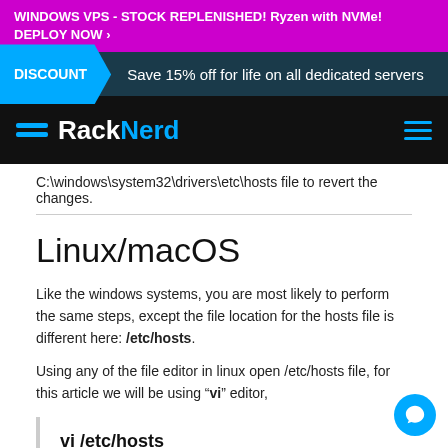WINDOWS VPS - STOCK REPLENISHED! Ryzen with NVMe!
DEPLOY NOW >
DISCOUNT  Save 15% off for life on all dedicated servers
RackNerd
C:\windows\system32\drivers\etc\hosts file to revert the changes.
Linux/macOS
Like the windows systems, you are most likely to perform the same steps, except the file location for the hosts file is different here: /etc/hosts.
Using any of the file editor in linux open /etc/hosts file, for this article we will be using “vi” editor,